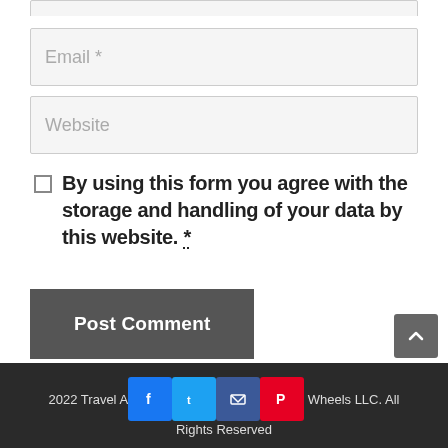Email *
Website
By using this form you agree with the storage and handling of your data by this website. *
Post Comment
2022 Travel Apart on Wheels LLC. All Rights Reserved